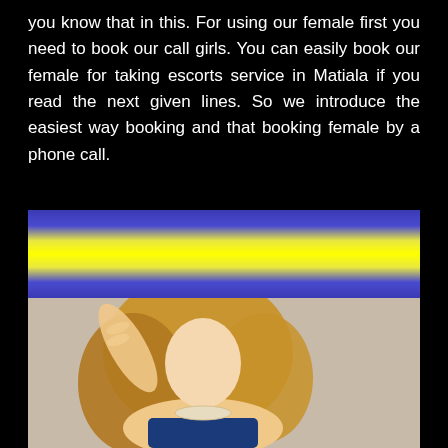you know that in this. For using our female first you need to book our call girls. You can easily book our female for taking escorts service in Matiala if you read the next given lines. So we introduce the easiest way booking and that booking female by a phone call.
[Figure (photo): A banner with blue and yellow horizontal stripes above a photo of a blonde woman wearing a blue dress and pearl necklace]